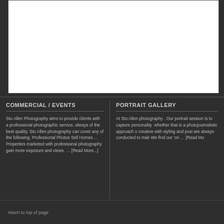[Figure (photo): White rectangular area representing an image placeholder on a dark background]
COMMERCIAL / EVENTS
Stu Allen Photography aims to provide clients with a professional photographic service, always of the best quality. Stu Allen photography can cover any of the following. Professional Photos Sell Homes ... Properties marketed with professional photography gain more exposure and views. … [Read More...]
PORTRAIT GALLERY
At Stu Allen photography . Our portrait session is to capture personality  whether that is a photojournalistic approach or creative with styling and posi are always conducted to mak We find our 'on … [Read Mo
return to top of page